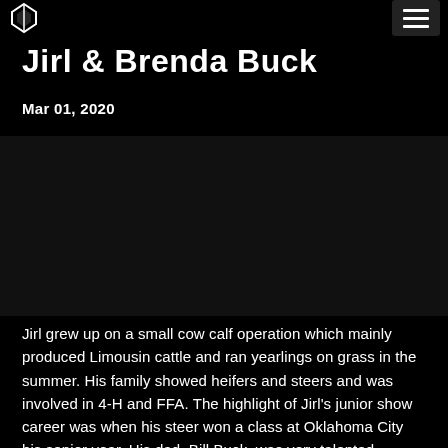Jirl & Brenda Buck — site header with logo and navigation menu
Jirl & Brenda Buck
Mar 01, 2020
[Figure (photo): Dark/black image placeholder area, likely a photo that did not render or is loading]
Jirl grew up on a small cow calf operation which mainly produced Limousin cattle and ran yearlings on grass in the summer. His family showed heifers and steers and was involved in 4-H and FFA. The highlight of Jirl's junior show career was when his steer won a class at Oklahoma City his senior year. His dad, Bill Buck, was very talented